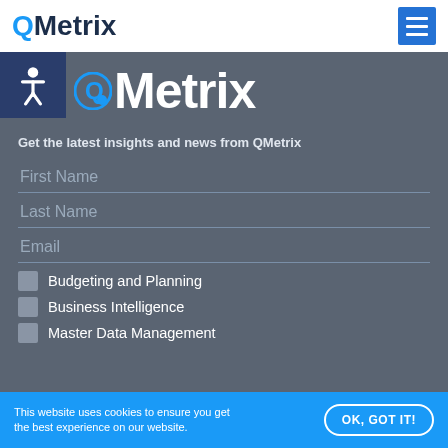QMetrix
Metrix
Get the latest insights and news from QMetrix
First Name
Last Name
Email
Budgeting and Planning
Business Intelligence
Master Data Management
This website uses cookies to ensure you get the best experience on our website. OK, GOT IT!